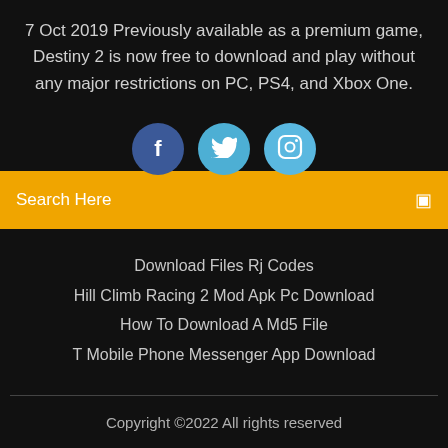7 Oct 2019 Previously available as a premium game, Destiny 2 is now free to download and play without any major restrictions on PC, PS4, and Xbox One.
[Figure (illustration): Three social media icons: Facebook (dark blue circle with f), Twitter (medium blue circle with bird), Instagram (light blue circle with camera)]
Search Here
Download Files Rj Codes
Hill Climb Racing 2 Mod Apk Pc Download
How To Download A Md5 File
T Mobile Phone Messenger App Download
Copyright ©2022 All rights reserved